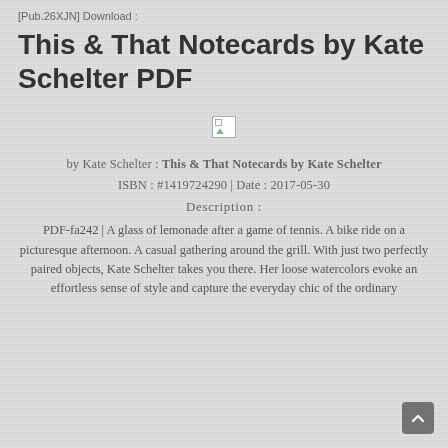[Pub.26XJN] Download :
This & That Notecards by Kate Schelter PDF
[Figure (illustration): Broken image placeholder icon showing a small image with a green triangle and border]
by Kate Schelter : This & That Notecards by Kate Schelter
ISBN : #1419724290 | Date : 2017-05-30
Description :
PDF-fa242 | A glass of lemonade after a game of tennis. A bike ride on a picturesque afternoon. A casual gathering around the grill. With just two perfectly paired objects, Kate Schelter takes you there. Her loose watercolors evoke an effortless sense of style and capture the everyday chic of the ordinary